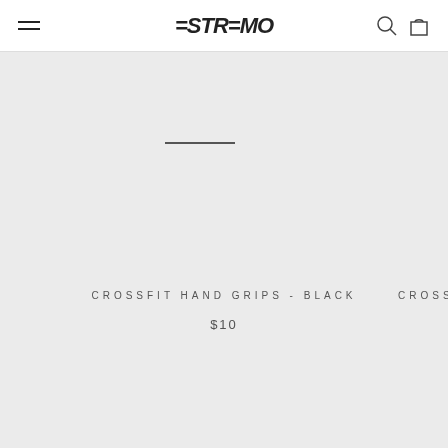ESTREMO navigation header with hamburger menu, logo, search and cart icons
RELATED PRODUCTS
[Figure (photo): Product image placeholder with dash line for Crossfit Hand Grips - Black]
CROSSFIT HAND GRIPS - BLACK
$10
CROSSF